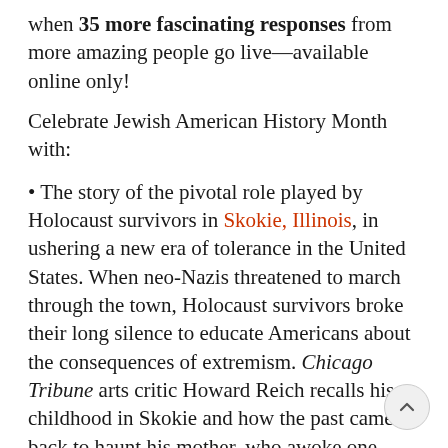when 35 more fascinating responses from more amazing people go live—available online only!
Celebrate Jewish American History Month with:
The story of the pivotal role played by Holocaust survivors in Skokie, Illinois, in ushering a new era of tolerance in the United States. When neo-Nazis threatened to march through the town, Holocaust survivors broke their long silence to educate Americans about the consequences of extremism. Chicago Tribune arts critic Howard Reich recalls his childhood in Skokie and how the past came back to haunt his mother, who awoke one morning to see yellow stars on her lawn.
Just in time for summer: our second annual guide